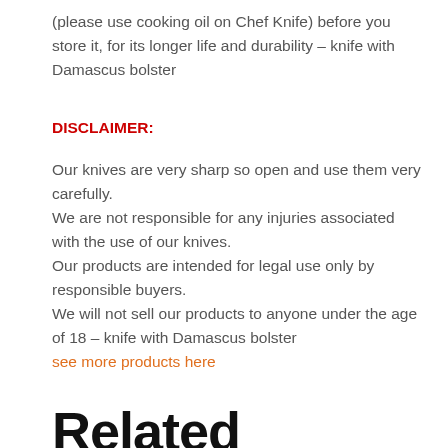(please use cooking oil on Chef Knife) before you store it, for its longer life and durability – knife with Damascus bolster
DISCLAIMER:
Our knives are very sharp so open and use them very carefully.
We are not responsible for any injuries associated with the use of our knives.
Our products are intended for legal use only by responsible buyers.
We will not sell our products to anyone under the age of 18 – knife with Damascus bolster
see more products here
Related